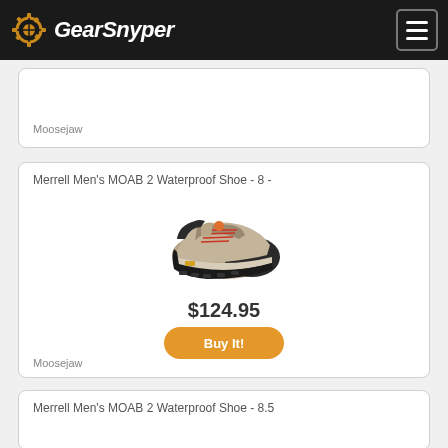[Figure (logo): GearSnyper logo with gear icon and italic white text on dark header bar]
Moosejaw
Merrell Men's MOAB 2 Waterproof Shoe - 8 -
[Figure (photo): Merrell Men's MOAB 2 Waterproof Shoe in tan/brown color with red laces and black sole, side view]
$124.95
Buy It!
Moosejaw
Merrell Men's MOAB 2 Waterproof Shoe - 8.5